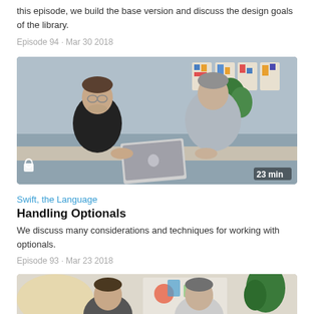this episode, we build the base version and discuss the design goals of the library.
Episode 94 - Mar 30 2018
[Figure (photo): Two men sitting at a table with a laptop, colorful artwork on the wall behind them. Duration: 23 min. Lock icon visible.]
Swift, the Language
Handling Optionals
We discuss many considerations and techniques for working with optionals.
Episode 93 - Mar 23 2018
[Figure (photo): Two men in a studio setting with colorful artwork on wall behind them and a plant visible.]